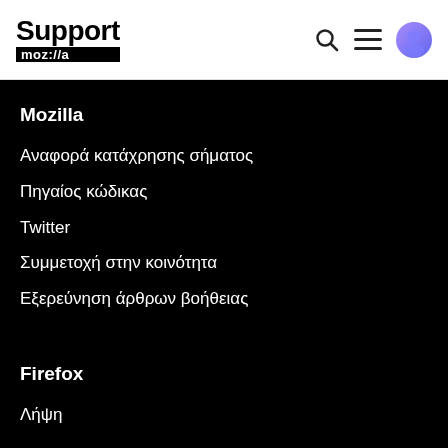Support mozilla
Mozilla
Αναφορά κατάχρησης σήματος
Πηγαίος κώδικας
Twitter
Συμμετοχή στην κοινότητα
Εξερεύνηση άρθρων βοήθειας
Firefox
Λήψη